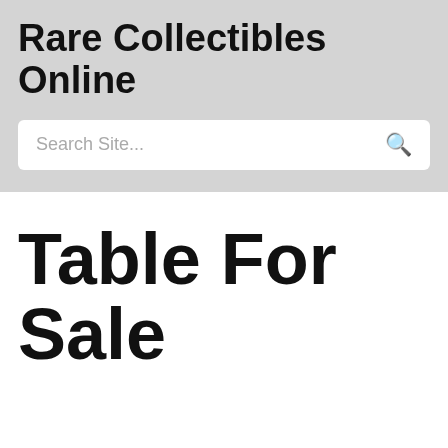Rare Collectibles Online
Search Site...
Table For Sale